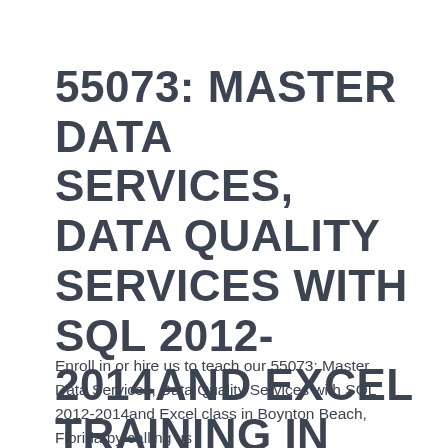55073: MASTER DATA SERVICES, DATA QUALITY SERVICES WITH SQL 2012-2014AND EXCEL TRAINING IN BOYNTON BEACH
Enroll in or hire us to teach our 55073: Master Data Services, Data Quality Services with SQL 2012-2014and Excel class in Boynton Beach, Florida by calling us